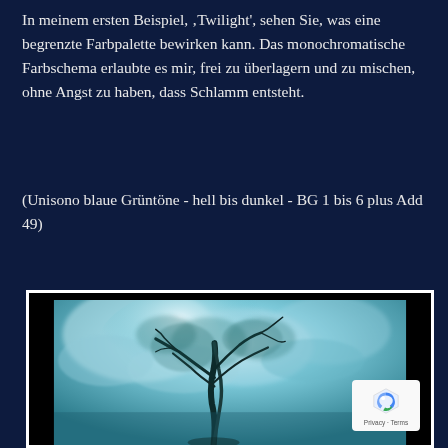In meinem ersten Beispiel, ‚Twilight', sehen Sie, was eine begrenzte Farbpalette bewirken kann. Das monochromatische Farbschema erlaubte es mir, frei zu überlagern und zu mischen, ohne Angst zu haben, dass Schlamm entsteht.
(Unisono blaue Grüntöne - hell bis dunkel - BG 1 bis 6 plus Add 49)
[Figure (illustration): A monochromatic blue-green painting of a tree with swirling, atmospheric background. The artwork is framed with a black frame and white inner border. A reCAPTCHA badge overlay appears in the bottom right corner.]